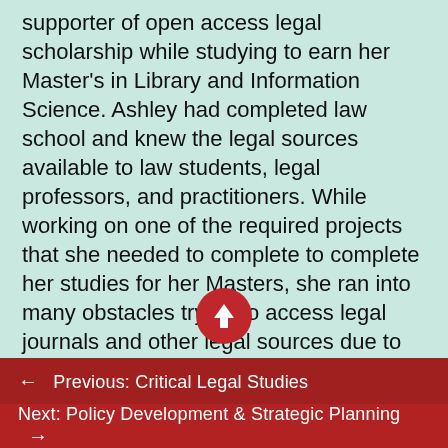supporter of open access legal scholarship while studying to earn her Master's in Library and Information Science. Ashley had completed law school and knew the legal sources available to law students, legal professors, and practitioners. While working on one of the required projects that she needed to complete to complete her studies for her Masters, she ran into many obstacles trying to access legal journals and other legal sources due to her university not subscribing to the legal publications that she needed and the sources not being available online.
← Previous: Critical Legal Studies
Next: Policy Development & Strategic Planning →